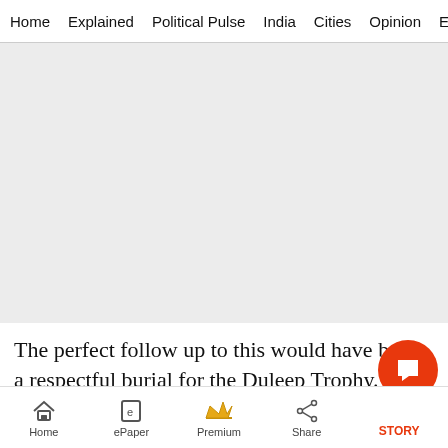Home  Explained  Political Pulse  India  Cities  Opinion  Entertainment
[Figure (other): Gray advertisement placeholder area]
The perfect follow up to this would have been a respectful burial for the Duleep Trophy. Wh...
Home  ePaper  Premium  Share  STORY